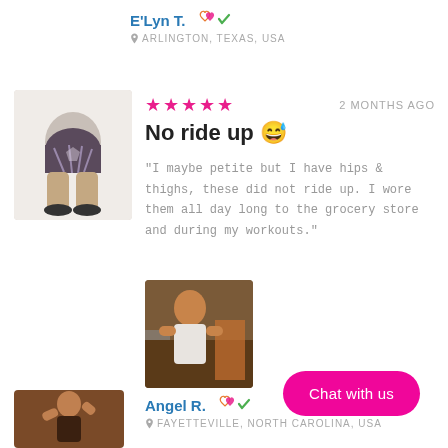E'Lyn T.  ARLINGTON, TEXAS, USA
★★★★★  2 MONTHS AGO
No ride up 😃
"I maybe petite but I have hips & thighs, these did not ride up. I wore them all day long to the grocery store and during my workouts."
[Figure (photo): Person wearing patterned bike shorts, rear view]
[Figure (photo): Woman working out at a gym]
Angel R.  FAYETTEVILLE, NORTH CAROLINA, USA
★★★★★
Fantastic!
[Figure (photo): Woman posing with hand behind head]
Chat with us